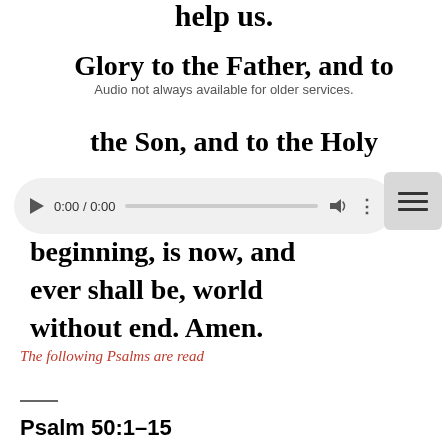help us.
Glory to the Father, and to the Son, and to the Holy beginning, is now, and ever shall be, world without end. Amen.
Audio not always available for older services.
[Figure (other): Audio player widget showing 0:00 / 0:00 with play button, progress bar, volume icon, and options menu. A hamburger menu button appears to the right.]
The following Psalms are read
Psalm 50:1–15